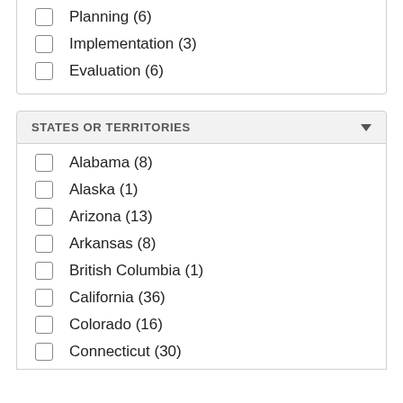Planning (6)
Implementation (3)
Evaluation (6)
STATES OR TERRITORIES
Alabama (8)
Alaska (1)
Arizona (13)
Arkansas (8)
British Columbia (1)
California (36)
Colorado (16)
Connecticut (30)